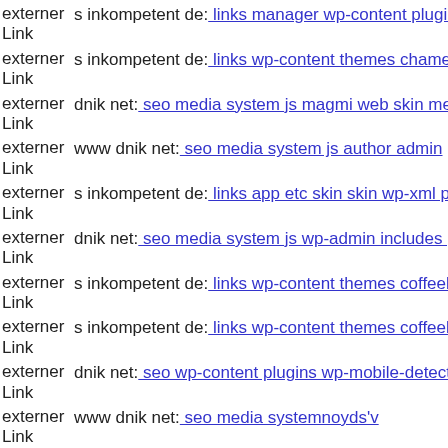externer Link  s inkompetent de: links manager wp-content plugins wp-file...
externer Link  s inkompetent de: links wp-content themes chameleon comp...
externer Link  dnik net: seo media system js magmi web skin media admin...
externer Link  www dnik net: seo media system js author admin
externer Link  s inkompetent de: links app etc skin skin wp-xml php
externer Link  dnik net: seo media system js wp-admin includes plugins co...
externer Link  s inkompetent de: links wp-content themes coffeebreak clas...
externer Link  s inkompetent de: links wp-content themes coffeebreak scri...
externer Link  dnik net: seo wp-content plugins wp-mobile-detector cache...
externer Link  www dnik net: seo media systemnoyds'v
externer Link  www dnik net: seo media components com b2jcontact wp-c...